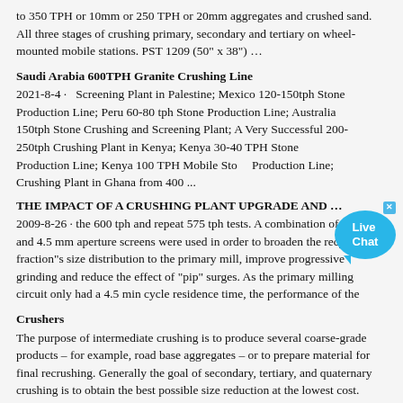to 350 TPH or 10mm or 250 TPH or 20mm aggregates and crushed sand. All three stages of crushing primary, secondary and tertiary on wheel-mounted mobile stations. PST 1209 (50" x 38") …
Saudi Arabia 600TPH Granite Crushing Line
2021-8-4 · Screening Plant in Palestine; Mexico 120-150tph Stone Production Line; Peru 60-80 tph Stone Production Line; Australia 150tph Stone Crushing and Screening Plant; A Very Successful 200-250tph Crushing Plant in Kenya; Kenya 30-40 TPH Stone Production Line; Kenya 100 TPH Mobile Stone Production Line; Crushing Plant in Ghana from 400 ...
THE IMPACT OF A CRUSHING PLANT UPGRADE AND …
2009-8-26 · the 600 tph and repeat 575 tph tests. A combination of 6 mm and 4.5 mm aperture screens were used in order to broaden the recycle fraction"s size distribution to the primary mill, improve progressive grinding and reduce the effect of "pip" surges. As the primary milling circuit only had a 4.5 min cycle residence time, the performance of the
Crushers
The purpose of intermediate crushing is to produce several coarse-grade products – for example, road base aggregates – or to prepare material for final recrushing. Generally the goal of secondary, tertiary, and quaternary crushing is to obtain the best possible size reduction at the lowest cost.